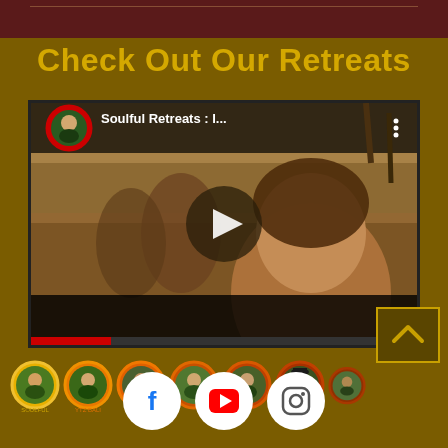Check Out Our Retreats
[Figure (screenshot): YouTube video thumbnail showing women at a beach/pool, with title 'Soulful Retreats : I...' and a channel avatar with red circular border. A play button overlay is visible.]
[Figure (illustration): Row of 7 circular avatar/profile icons with colored borders (yellow, orange, red gradients) along the bottom of the page]
[Figure (illustration): Social media icons row: Facebook, YouTube, and Instagram white circle buttons at the bottom of the page]